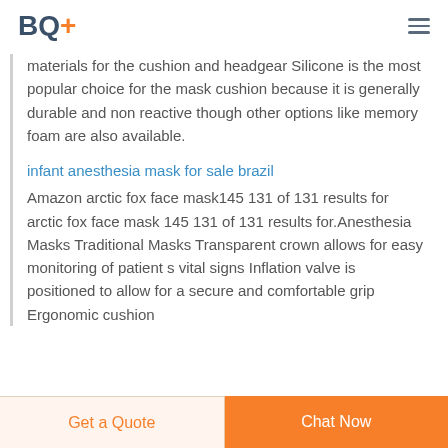BQ+
materials for the cushion and headgear Silicone is the most popular choice for the mask cushion because it is generally durable and non reactive though other options like memory foam are also available.
infant anesthesia mask for sale brazil
Amazon arctic fox face mask145 131 of 131 results for arctic fox face mask 145 131 of 131 results for.Anesthesia Masks Traditional Masks Transparent crown allows for easy monitoring of patient s vital signs Inflation valve is positioned to allow for a secure and comfortable grip Ergonomic cushion
Get a Quote | Chat Now